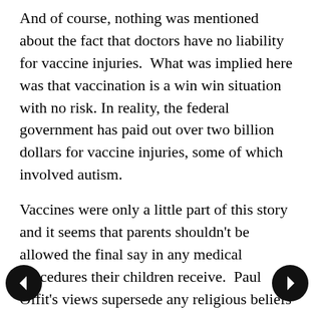And of course, nothing was mentioned about the fact that doctors have no liability for vaccine injuries.  What was implied here was that vaccination is a win win situation with no risk. In reality, the federal government has paid out over two billion dollars for vaccine injuries, some of which involved autism.
Vaccines were only a little part of this story and it seems that parents shouldn't be allowed the final say in any medical procedures their children receive.  Paul Offit's views supersede any religious beliefs parents might hold.
Most telling of all is the fact that the Philadelphia Inquirer had no comment section on this propaganda piece. That way they were able to avoid the angry responses from